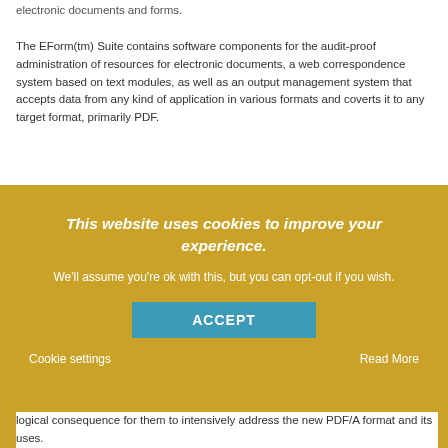electronic documents and forms.
The EForm(tm) Suite contains software components for the audit-proof administration of resources for electronic documents, a web correspondence system based on text modules, as well as an output management system that accepts data from any kind of application in various formats and coverts it to any target format, primarily PDF.
This website uses cookies to improve your experience.
We'll assume you're ok with this, but you can opt-out if you wish.
ACCEPT
Cookie settings
Read More
logical consequence for them to intensively address the new PDF/A format and its uses.